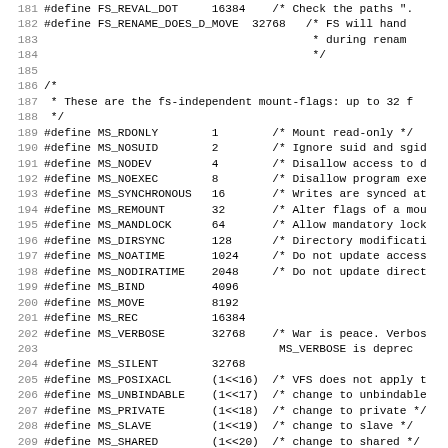Source code listing lines 181-212, C header file with #define macros for filesystem flags (FS_REVAL_DOT, FS_RENAME_DOES_D_MOVE) and mount flags (MS_RDONLY through MS_I_VERSION)